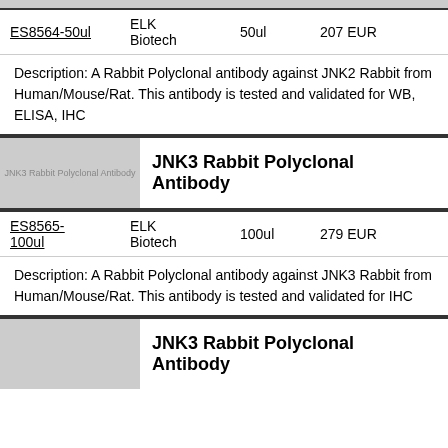| ID | Supplier | Size | Price |
| --- | --- | --- | --- |
| ES8564-50ul | ELK Biotech | 50ul | 207 EUR |
Description: A Rabbit Polyclonal antibody against JNK2 Rabbit from Human/Mouse/Rat. This antibody is tested and validated for WB, ELISA, IHC
[Figure (photo): Product image placeholder for JNK3 Rabbit Polyclonal Antibody]
JNK3 Rabbit Polyclonal Antibody
| ID | Supplier | Size | Price |
| --- | --- | --- | --- |
| ES8565-100ul | ELK Biotech | 100ul | 279 EUR |
Description: A Rabbit Polyclonal antibody against JNK3 Rabbit from Human/Mouse/Rat. This antibody is tested and validated for IHC
[Figure (photo): Product image placeholder for JNK3 Rabbit Polyclonal Antibody]
JNK3 Rabbit Polyclonal Antibody